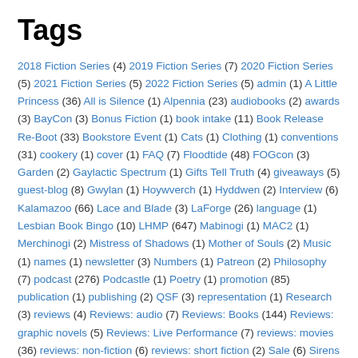Tags
2018 Fiction Series (4) 2019 Fiction Series (7) 2020 Fiction Series (5) 2021 Fiction Series (5) 2022 Fiction Series (5) admin (1) A Little Princess (36) All is Silence (1) Alpennia (23) audiobooks (2) awards (3) BayCon (3) Bonus Fiction (1) book intake (11) Book Release Re-Boot (33) Bookstore Event (1) Cats (1) Clothing (1) conventions (31) cookery (1) cover (1) FAQ (7) Floodtide (48) FOGcon (3) Garden (2) Gaylactic Spectrum (1) Gifts Tell Truth (4) giveaways (5) guest-blog (8) Gwylan (1) Hoywverch (1) Hyddwen (2) Interview (6) Kalamazoo (66) Lace and Blade (3) LaForge (26) language (1) Lesbian Book Bingo (10) LHMP (647) Mabinogi (1) MAC2 (1) Merchinogi (2) Mistress of Shadows (1) Mother of Souls (2) Music (1) names (1) newsletter (3) Numbers (1) Patreon (2) Philosophy (7) podcast (276) Podcastle (1) Poetry (1) promotion (85) publication (1) publishing (2) QSF (3) representation (1) Research (3) reviews (4) Reviews: audio (7) Reviews: Books (144) Reviews: graphic novels (5) Reviews: Live Performance (7) reviews: movies (36) reviews: non-fiction (6) reviews: short fiction (2) Sale (6) Sirens (1) stories (1) Storybundle (16) submissions (2) teasers (52) test (2) The Language of Roses (2) the language of roses (6) Through